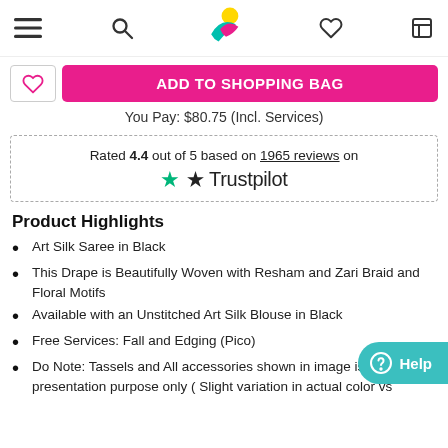Navigation bar with menu, search, logo, wishlist, and cart icons
[Figure (screenshot): ADD TO SHOPPING BAG pink button with wishlist heart icon on left]
You Pay: $80.75 (Incl. Services)
Rated 4.4 out of 5 based on 1965 reviews on Trustpilot
Product Highlights
Art Silk Saree in Black
This Drape is Beautifully Woven with Resham and Zari Braid and Floral Motifs
Available with an Unstitched Art Silk Blouse in Black
Free Services: Fall and Edging (Pico)
Do Note: Tassels and All accessories shown in image is for presentation purpose only ( Slight variation in actual color vs